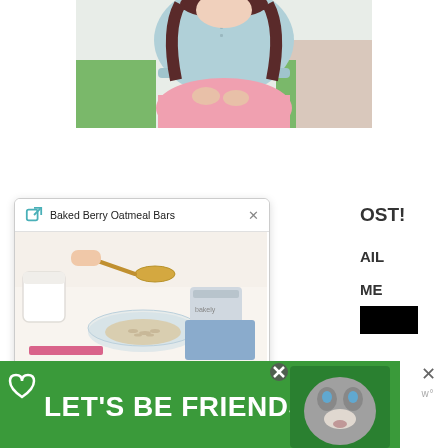[Figure (photo): Partial view of a woman wearing a light blue chambray shirt and pink pleated skirt, hands clasped in front, outdoor background with green grass and a path.]
[Figure (screenshot): A browser or app popup card titled 'Baked Berry Oatmeal Bars' with a close (X) button, showing a photo of oatmeal/ingredients in a glass bowl on a white surface, with a pink progress bar at the bottom.]
OST!
AIL
ME
[Figure (photo): Black rectangle (partially visible button or image).]
[Figure (illustration): Green advertisement banner with text 'LET'S BE FRIENDS' in white bold letters, a heart icon, and a photo of a husky dog on the right. There is a small X close button in the top right of the ad, and an additional X close button further to the right with a 'w' logo below it.]